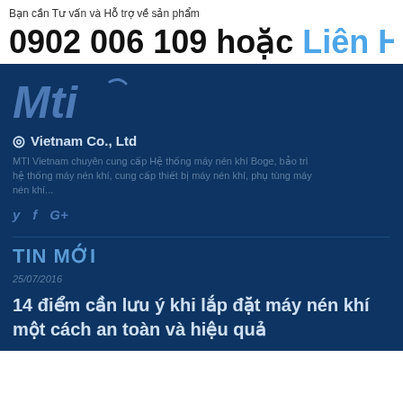Bạn cần Tư vấn và Hỗ trợ về sản phẩm
0902 006 109 hoặc Liên Hệ
[Figure (logo): MTi logo with arrow - italic bold blue text]
Vietnam Co., Ltd
MTI Vietnam chuyên cung cấp Hệ thống máy nén khí Boge, bảo trì hệ thống máy nén khí, cung cấp thiết bị máy nén khí, phụ tùng máy nén khí...
y  f  G+
TIN MỚI
25/07/2016
14 điểm cần lưu ý khi lắp đặt máy nén khí một cách an toàn và hiệu quả